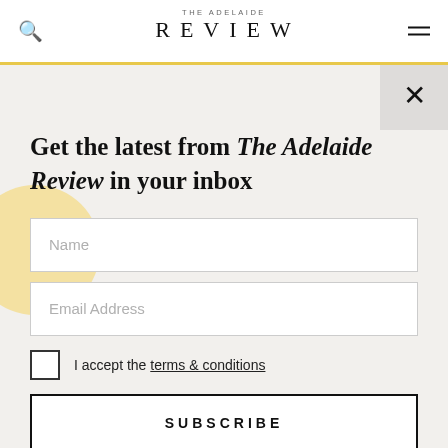THE ADELAIDE REVIEW
Get the latest from The Adelaide Review in your inbox
Name
Email Address
I accept the terms & conditions
SUBSCRIBE